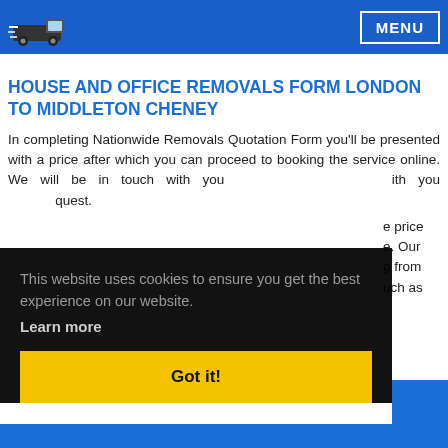MENU
pack everything for you. By allowing our experts to pack or unpack for you, you will be able to relax and enjoy your new home or office.
HOUSE AND OFFICE REMOVALS FORM LONDON TO MIDDLETON CHENEY
In completing Nationwide Removals Quotation Form you'll be presented with a price after which you can proceed to booking the service online. We will be in touch with you ... request.
This website uses cookies to ensure you get the best experience on our website.
Learn more
Got it!